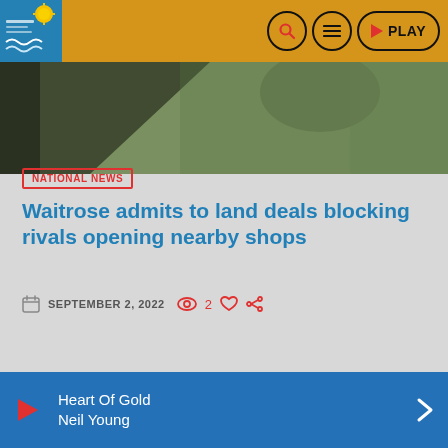Solway Radio — PLAY
[Figure (photo): Cropped photo showing dark umbrellas and bags/luggage in green tones]
NATIONAL NEWS
Waitrose admits to land deals blocking rivals opening nearby shops
SEPTEMBER 2, 2022  2
Heart Of Gold
Neil Young